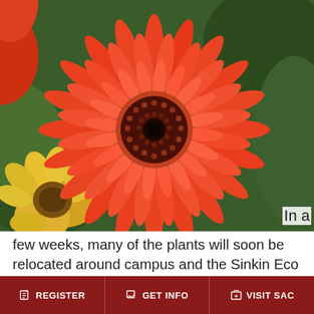[Figure (photo): Close-up photo of an orange/red gerbera daisy flower with a dark center, yellow flowers and green foliage visible in the background]
In a few weeks, many of the plants will soon be relocated around campus and the Sinkin Eco Centro. Then new seedlings will take their place in the greenhouse to begin the next crop of herbs, vegetables, and flowers
REGISTER   GET INFO   VISIT SAC